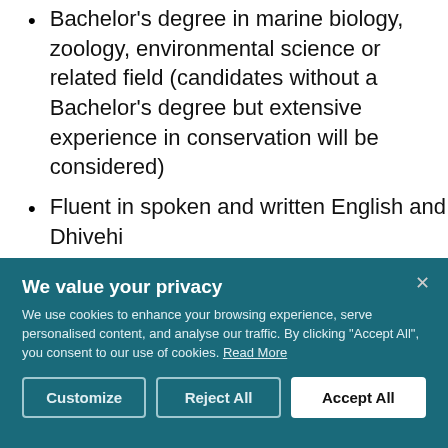Bachelor's degree in marine biology, zoology, environmental science or related field (candidates without a Bachelor's degree but extensive experience in conservation will be considered)
Fluent in spoken and written English and Dhivehi
Excellent communication and
[Figure (screenshot): Cookie consent banner overlay with teal background. Title: 'We value your privacy'. Body text about cookies and browsing experience. Buttons: Customize, Reject All, Accept All.]